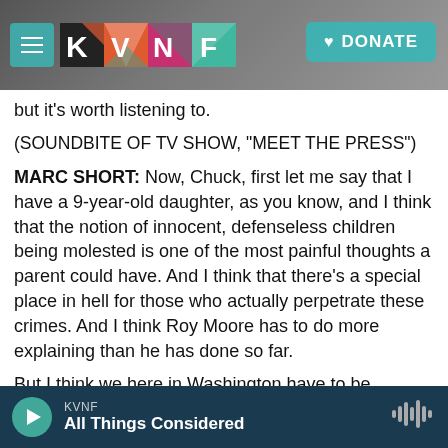KVNF [logo] DONATE
but it's worth listening to.
(SOUNDBITE OF TV SHOW, "MEET THE PRESS")
MARC SHORT: Now, Chuck, first let me say that I have a 9-year-old daughter, as you know, and I think that the notion of innocent, defenseless children being molested is one of the most painful thoughts a parent could have. And I think that there's a special place in hell for those who actually perpetrate these crimes. And I think Roy Moore has to do more explaining than he has done so far.
But I think we here in Washington have to be
KVNF | All Things Considered